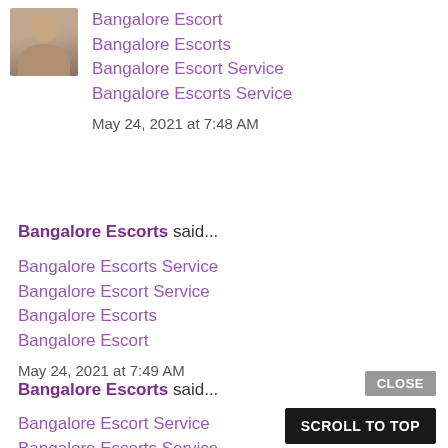[Figure (photo): Small avatar/profile photo of a woman, approximately 68x68px, positioned top-left corner]
Bangalore Escort
Bangalore Escorts
Bangalore Escort Service
Bangalore Escorts Service

May 24, 2021 at 7:48 AM
Bangalore Escorts said...
Bangalore Escorts Service
Bangalore Escort Service
Bangalore Escorts
Bangalore Escort

May 24, 2021 at 7:49 AM
Bangalore Escorts said...
Bangalore Escort Service
Bangalore Escorts Service